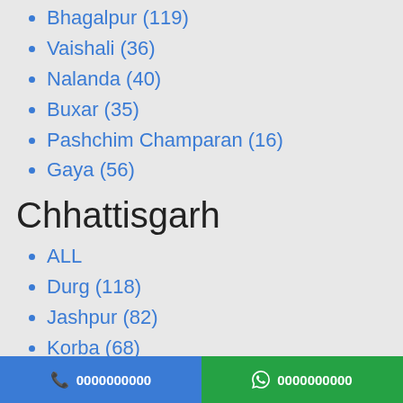Bhagalpur (119)
Vaishali (36)
Nalanda (40)
Buxar (35)
Pashchim Champaran (16)
Gaya (56)
Chhattisgarh
ALL
Durg (118)
Jashpur (82)
Korba (68)
Mahasamund (38)
Raigarh (141)
Surguja (100)
Bastar (124)
Bilaspur (279)
Dh…
Ja…
0000000000  0000000000